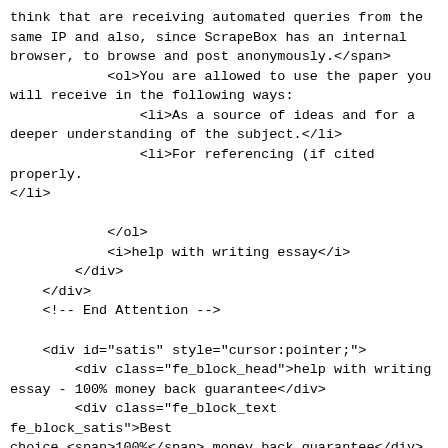think that are receiving automated queries from the same IP and also, since ScrapeBox has an internal browser, to browse and post anonymously.</span>
            <ol>You are allowed to use the paper you will receive in the following ways:
                <li>As a source of ideas and for a deeper understanding of the subject.</li>
                <li>For referencing (if cited properly.</li>

            </ol>
            <i>help with writing essay</i>
        </div>
    </div>
    <!-- End Attention -->

    <div id="satis" style="cursor:pointer;">
        <div class="fe_block_head">help with writing essay - 100% money back guarantee</div>
        <div class="fe_block_text fe_block_satis">Best choice <span>100%</span> money back guarantee</div>
    </div>
    </br>
<div class="fe_block_head">Writing tips</div>
<div id="mmenu">
    <ul>
        <li style="padding-bottom: 10px;list-style: none;">
            <a href="?page=NTcyNw___3D___3D-edgar-allan-poe-alone-poem">edgar allan poe alone poem</a>
            <a href="?page=MjU0MA__3D__3D-buy-college-